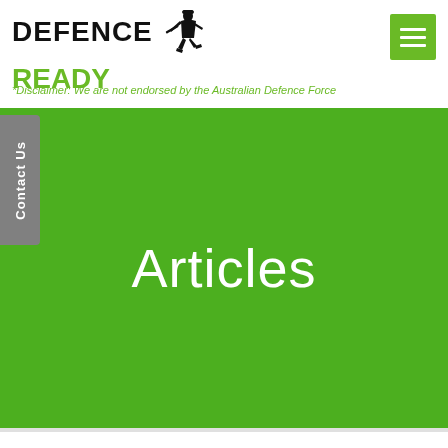DEFENCE READY
*Disclaimer: We are not endorsed by the Australian Defence Force
Articles
Home >> Articles